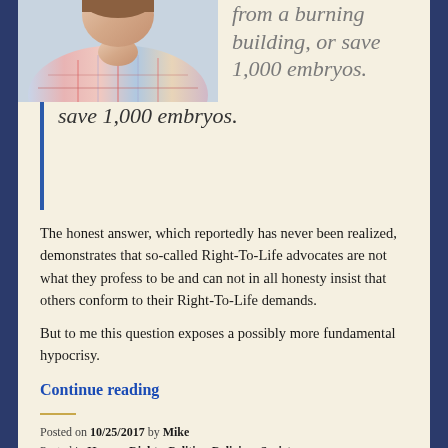[Figure (photo): Partial photo of a person wearing a plaid/striped shirt, cropped at shoulder/chest level]
from a burning building, or save 1,000 embryos.
The honest answer, which reportedly has never been realized, demonstrates that so-called Right-To-Life advocates are not what they profess to be and can not in all honesty insist that others conform to their Right-To-Life demands.
But to me this question exposes a possibly more fundamental hypocrisy.
Continue reading
Posted on 10/25/2017 by Mike
Posted in Human Rights, Politics, Religion, Society
Tagged Embryos, fire, Five-Year-Old, life, Right-To-Life,